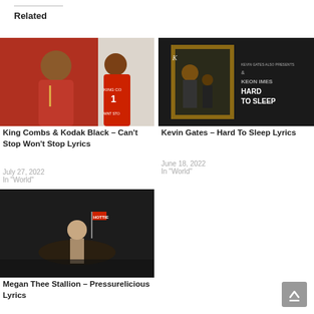Related
[Figure (photo): King Combs wearing red jacket, another person in red jersey with number 1]
King Combs & Kodak Black – Can't Stop Won't Stop Lyrics
July 27, 2022
In "World"
[Figure (photo): Kevin Gates – Hard To Sleep album cover with dark background and gold frame]
Kevin Gates – Hard To Sleep Lyrics
June 18, 2022
In "World"
[Figure (photo): Megan Thee Stallion – Pressurelicious promotional image with dark background]
Megan Thee Stallion – Pressurelicious Lyrics